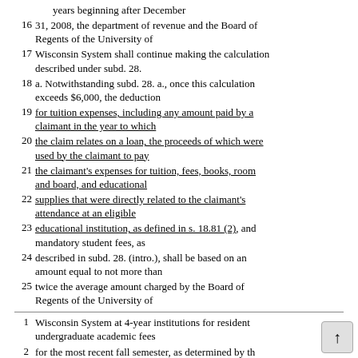years beginning after December
16 31, 2008, the department of revenue and the Board of Regents of the University of
17 Wisconsin System shall continue making the calculation described under subd. 28.
18 a. Notwithstanding subd. 28. a., once this calculation exceeds $6,000, the deduction
19 for tuition expenses, including any amount paid by a claimant in the year to which
20 the claim relates on a loan, the proceeds of which were used by the claimant to pay
21 the claimant's expenses for tuition, fees, books, room and board, and educational
22 supplies that were directly related to the claimant's attendance at an eligible
23 educational institution, as defined in s. 18.81 (2), and mandatory student fees, as
24 described in subd. 28. (intro.), shall be based on an amount equal to not more than
25 twice the average amount charged by the Board of Regents of the University of
1  Wisconsin System at 4-year institutions for resident undergraduate academic fees
2  for the most recent fall semester, as determined by the Board of Regents by: